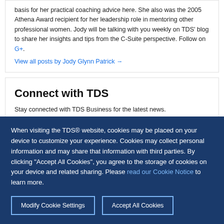basis for her practical coaching advice here. She also was the 2005 Athena Award recipient for her leadership role in mentoring other professional women. Jody will be talking with you weekly on TDS' blog to share her insights and tips from the C-Suite perspective. Follow on G+.
View all posts by Jody Glynn Patrick →
Connect with TDS
Stay connected with TDS Business for the latest news.
When visiting the TDS® website, cookies may be placed on your device to customize your experience. Cookies may collect personal information and may share that information with third parties. By clicking "Accept All Cookies", you agree to the storage of cookies on your device and related sharing. Please read our Cookie Notice to learn more.
Modify Cookie Settings
Accept All Cookies